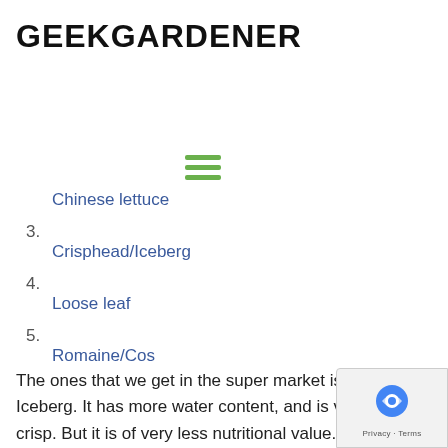GEEKGARDENER
[Figure (other): Hamburger menu icon with three green horizontal lines]
Chinese lettuce
3.
Crisphead/Iceberg
4.
Loose leaf
5.
Romaine/Cos
The ones that we get in the super market is mostly Iceberg. It has more water content, and is very crisp. But it is of very less nutritional value. There are other varieties